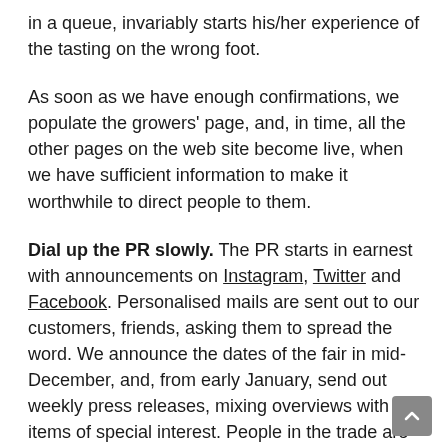in a queue, invariably starts his/her experience of the tasting on the wrong foot.
As soon as we have enough confirmations, we populate the growers' page, and, in time, all the other pages on the web site become live, when we have sufficient information to make it worthwhile to direct people to them.
Dial up the PR slowly. The PR starts in earnest with announcements on Instagram, Twitter and Facebook. Personalised mails are sent out to our customers, friends, asking them to spread the word. We announce the dates of the fair in mid-December, and, from early January, send out weekly press releases, mixing overviews with items of special interest. People in the trade are constantly being bombarded with information about events and promotions; there is really no